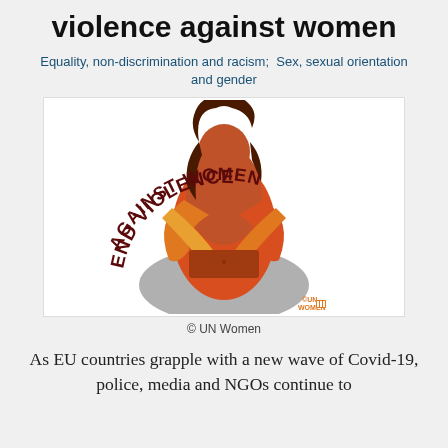violence against women
Equality, non-discrimination and racism;  Sex, sexual orientation and gender
[Figure (illustration): UN Women illustration showing a woman crossing her arms in front of her chest (a protective/defiant pose) with bold curved text reading 'END VIOLENCE AGAINST WOMEN' and the UN Women logo in the bottom right.]
© UN Women
As EU countries grapple with a new wave of Covid-19, police, media and NGOs continue to